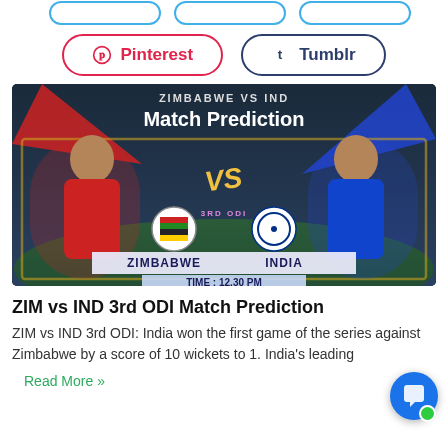[Figure (screenshot): Top navigation buttons row with blue rounded pill buttons]
[Figure (screenshot): Pinterest and Tumblr social share buttons]
[Figure (photo): Zimbabwe vs India 3rd ODI Match Prediction banner image showing two cricket players facing each other with team logos and text: Match Prediction, VS, ZIMBABWE, INDIA, TIME: 12.30 PM]
ZIM vs IND 3rd ODI Match Prediction
ZIM vs IND 3rd ODI: India won the first game of the series against Zimbabwe by a score of 10 wickets to 1. India's leading
Read More »